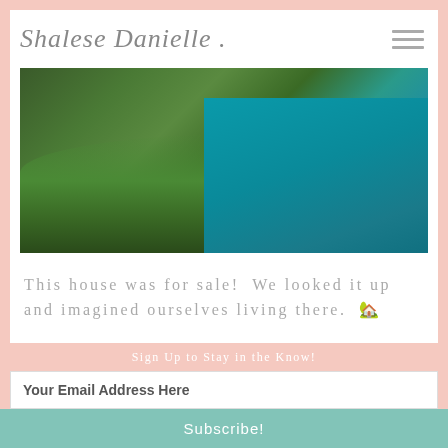Shalese Danielle
[Figure (photo): Aerial coastal photo showing green forested hillside with turquoise ocean water in the background]
This house was for sale!  We looked it up and imagined ourselves living there.  🏡
[Figure (photo): Panoramic landscape photo of rolling green hills under a blue sky]
Sign Up to Stay in the Know!
Your Email Address Here
Subscribe!